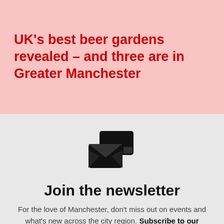UK's best beer gardens revealed – and three are in Greater Manchester
[Figure (illustration): Newsletter icon showing an envelope with a card/document overlapping it, rendered in black]
Join the newsletter
For the love of Manchester, don't miss out on events and what's new across the city region. Subscribe to our